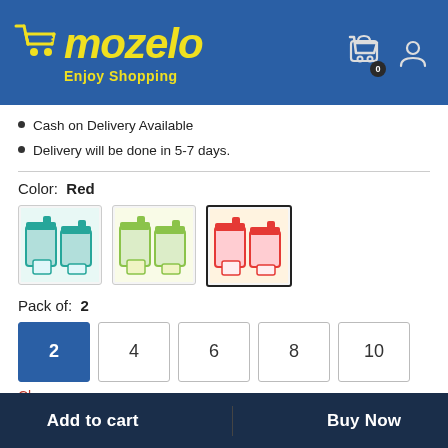[Figure (logo): Mozelo shopping cart logo with yellow cart icon and text 'mozelo' in italic yellow font on blue background, with tagline 'Enjoy Shopping']
Cash on Delivery Available
Delivery will be done in 5-7 days.
Color: Red
[Figure (photo): Three container set color options: teal/green, green/yellow, and red (selected with border)]
Pack of: 2
Pack options: 2 (selected), 4, 6, 8, 10
Clear
Add to cart
Buy Now